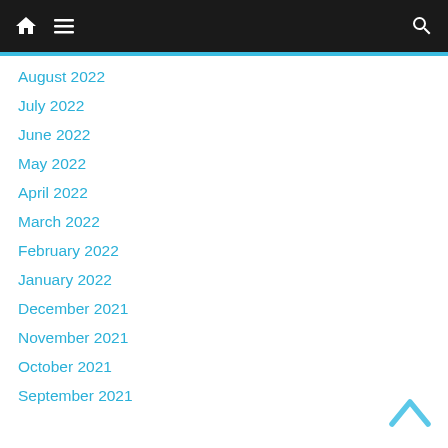Navigation bar with home, menu, and search icons
August 2022
July 2022
June 2022
May 2022
April 2022
March 2022
February 2022
January 2022
December 2021
November 2021
October 2021
September 2021